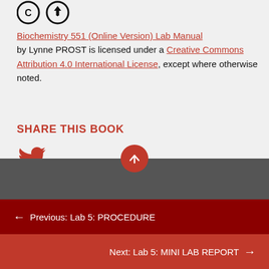[Figure (logo): Creative Commons license icons (CC and BY circles) at top of page]
Biochemistry 551 (Online Version) Lab Manual by Lynne PROST is licensed under a Creative Commons Attribution 4.0 International License, except where otherwise noted.
SHARE THIS BOOK
[Figure (logo): Twitter bird icon in red]
← Previous: Lab 5: PROCEDURE
Next: Lab 5: MINI LAB REPORT →